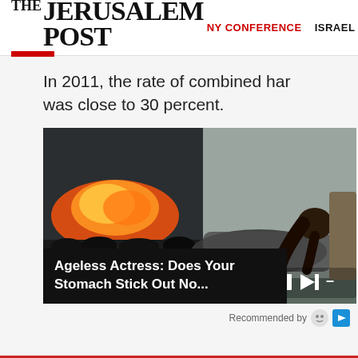THE JERUSALEM POST | NY CONFERENCE | ISRAEL
In 2011, the rate of combined har was close to 30 percent.
[Figure (photo): Video thumbnail showing a woman in workout attire doing a plank exercise near a fireplace. Video player controls visible. Caption overlay reads: Ageless Actress: Does Your Stomach Stick Out No...]
Ageless Actress: Does Your Stomach Stick Out No...
Recommended by